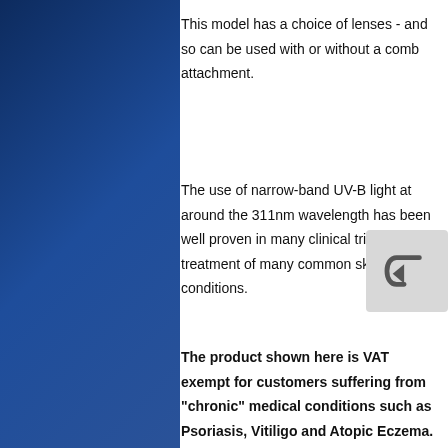This model has a choice of lenses - and so can be used with or without a comb attachment.
The use of narrow-band UV-B light at around the 311nm wavelength has been well proven in many clinical trials for the treatment of many common skin conditions.
The product shown here is VAT exempt for customers suffering from "chronic" medical conditions such as Psoriasis, Vitiligo and Atopic Eczema. The definition of "chronic" is that the condition is constant, or recurs frequently. A doctor's note is not necessary and the declaration by